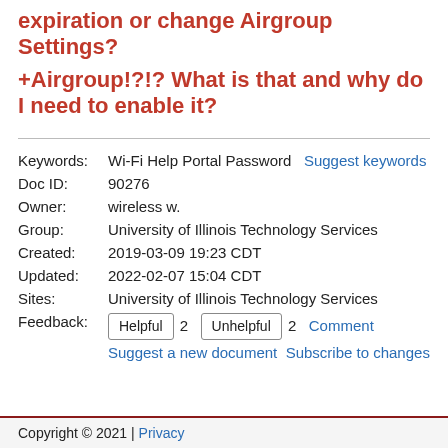expiration or change Airgroup Settings?
+Airgroup!?!? What is that and why do I need to enable it?
| Keywords: | Wi-Fi Help Portal Password   Suggest keywords |
| Doc ID: | 90276 |
| Owner: | wireless w. |
| Group: | University of Illinois Technology Services |
| Created: | 2019-03-09 19:23 CDT |
| Updated: | 2022-02-07 15:04 CDT |
| Sites: | University of Illinois Technology Services |
| Feedback: | Helpful 2  Unhelpful 2  Comment  Suggest a new document  Subscribe to changes |
Copyright © 2021 | Privacy